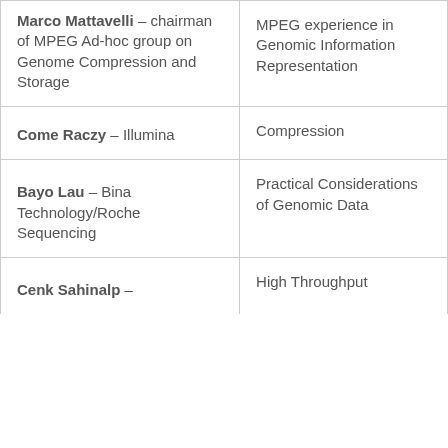| Speaker | Topic |
| --- | --- |
| Marco Mattavelli – chairman of MPEG Ad-hoc group on Genome Compression and Storage | MPEG experience in Genomic Information Representation |
| Come Raczy – Illumina | Compression |
| Bayo Lau – Bina Technology/Roche Sequencing | Practical Considerations of Genomic Data |
| Cenk Sahinalp – | High Throughput |